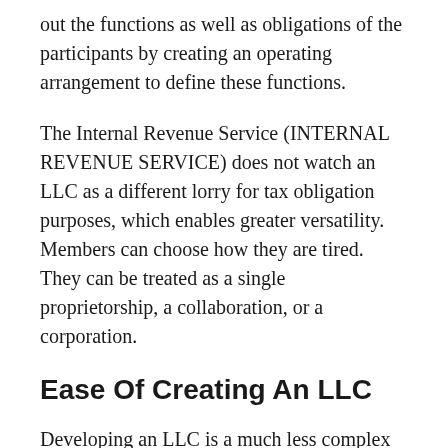out the functions as well as obligations of the participants by creating an operating arrangement to define these functions.
The Internal Revenue Service (INTERNAL REVENUE SERVICE) does not watch an LLC as a different lorry for tax obligation purposes, which enables greater versatility. Members can choose how they are tired. They can be treated as a single proprietorship, a collaboration, or a corporation.
Ease Of Creating An LLC
Developing an LLC is a much less complex process than creating a corporation as well as normally takes less paperwork. LLCs are under the jurisdiction of state legislation, so the